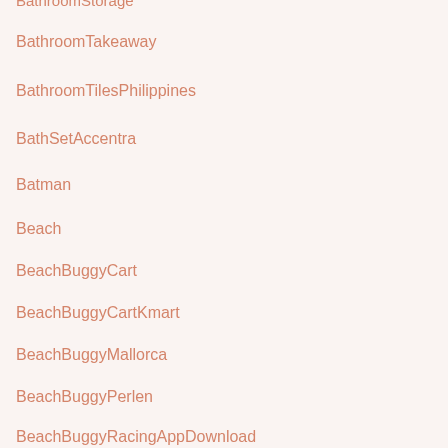BathroomStorage
BathroomTakeaway
BathroomTilesPhilippines
BathSetAccentra
Batman
Beach
BeachBuggyCart
BeachBuggyCartKmart
BeachBuggyMallorca
BeachBuggyPerlen
BeachBuggyRacingAppDownload
Beaches
beachhouse
BeachMotel
BeachShadeTent